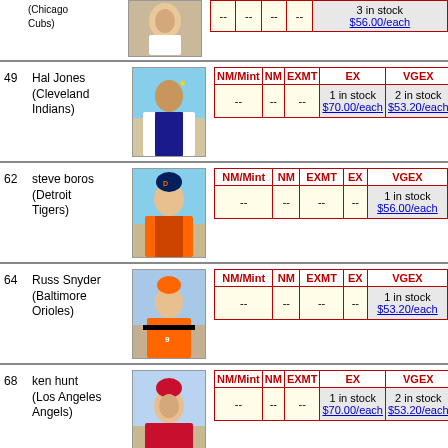| NM/Mint | NM | EXMT | EX | VGEX |
| --- | --- | --- | --- | --- |
| -- | -- | -- | -- | 3 in stock $56.00/each |
49 Hal Jones (Cleveland Indians)
| NM/Mint | NM | EXMT | EX | VGEX |
| --- | --- | --- | --- | --- |
| -- | -- | -- | 1 in stock $70.00/each | 2 in stock $53.20/each |
62 steve boros (Detroit Tigers)
| NM/Mint | NM | EXMT | EX | VGEX |
| --- | --- | --- | --- | --- |
| -- | -- | -- | -- | 1 in stock $56.00/each |
64 Russ Snyder (Baltimore Orioles)
| NM/Mint | NM | EXMT | EX | VGEX |
| --- | --- | --- | --- | --- |
| -- | -- | -- | -- | 1 in stock $53.20/each |
68 ken hunt (Los Angeles Angels)
| NM/Mint | NM | EXMT | EX | VGEX |
| --- | --- | --- | --- | --- |
| -- | -- | -- | 1 in stock $70.00/each | 2 in stock $53.20/each |